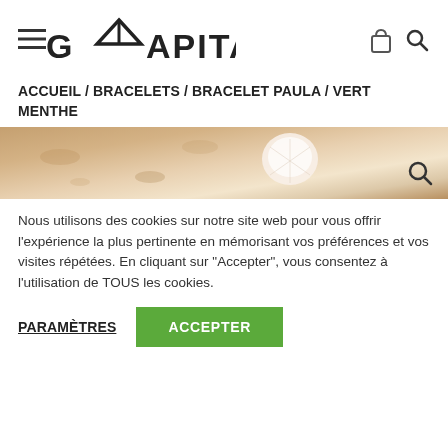GWAPITA — hamburger menu, cart, search icons
ACCUEIL / BRACELETS / BRACELET PAULA / VERT MENTHE
[Figure (photo): Product image strip showing sandy/beach texture with a shell and a search icon overlay]
Nous utilisons des cookies sur notre site web pour vous offrir l'expérience la plus pertinente en mémorisant vos préférences et vos visites répétées. En cliquant sur "Accepter", vous consentez à l'utilisation de TOUS les cookies.
PARAMÈTRES
ACCEPTER